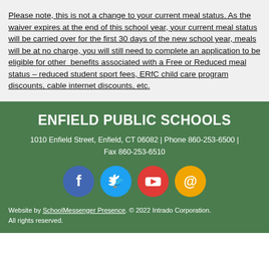Please note, this is not a change to your current meal status. As the waiver expires at the end of this school year, your current meal status will be carried over for the first 30 days of the new school year, meals will be at no charge, you will still need to complete an application to be eligible for other benefits associated with a Free or Reduced meal status – reduced student sport fees, ERfC child care program discounts, cable internet discounts, etc.
ENFIELD PUBLIC SCHOOLS
1010 Enfield Street, Enfield, CT 06082 | Phone 860-253-6500 | Fax 860-253-6510
[Figure (infographic): Social media icons: Facebook (blue circle), Twitter (light blue circle), YouTube (red circle), Email/@ (orange circle)]
Website by SchoolMessenger Presence. © 2022 Intrado Corporation. All rights reserved.